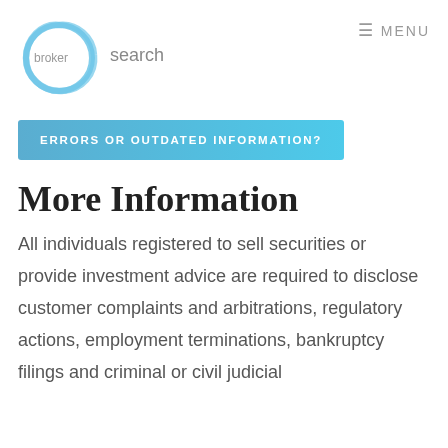[Figure (logo): Broker Search logo: a hand-drawn style blue circle with 'broker' inside and 'search' text to the right]
≡ MENU
ERRORS OR OUTDATED INFORMATION?
More Information
All individuals registered to sell securities or provide investment advice are required to disclose customer complaints and arbitrations, regulatory actions, employment terminations, bankruptcy filings and criminal or civil judicial...